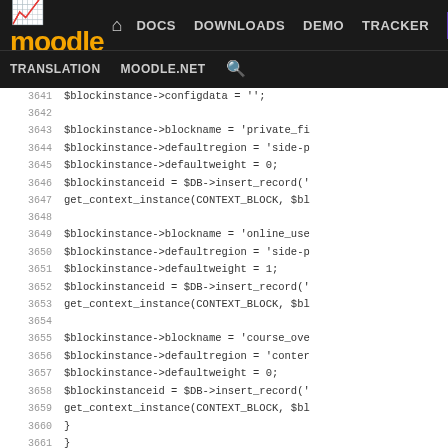moodle | DOCS DOWNLOADS DEMO TRACKER DEV | TRANSLATION MOODLE.NET
3641    $blockinstance->configdata = '';
3642
3643    $blockinstance->blockname = 'private_fi
3644    $blockinstance->defaultregion = 'side-p
3645    $blockinstance->defaultweight = 0;
3646    $blockinstanceid = $DB->insert_record('
3647    get_context_instance(CONTEXT_BLOCK, $bl
3648
3649    $blockinstance->blockname = 'online_use
3650    $blockinstance->defaultregion = 'side-p
3651    $blockinstance->defaultweight = 1;
3652    $blockinstanceid = $DB->insert_record('
3653    get_context_instance(CONTEXT_BLOCK, $bl
3654
3655    $blockinstance->blockname = 'course_ove
3656    $blockinstance->defaultregion = 'conter
3657    $blockinstance->defaultweight = 0;
3658    $blockinstanceid = $DB->insert_record('
3659    get_context_instance(CONTEXT_BLOCK, $bl
3660    }
3661    }
3662
3663    // Main savepoint reached
3664    upgrade_main_savepoint(true, 2010050403);
3665    }
3666